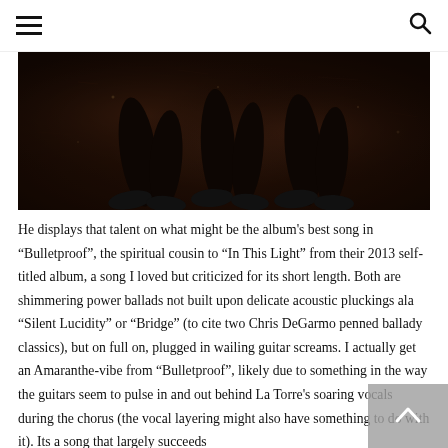[hamburger menu icon] [search icon]
[Figure (photo): Dark, moody photograph showing what appear to be boots or feet standing on a dark textured surface, very low lighting with brown and black tones.]
He displays that talent on what might be the album's best song in “Bulletproof”, the spiritual cousin to “In This Light” from their 2013 self-titled album, a song I loved but criticized for its short length. Both are shimmering power ballads not built upon delicate acoustic pluckings ala “Silent Lucidity” or “Bridge” (to cite two Chris DeGarmo penned ballady classics), but on full on, plugged in wailing guitar screams. I actually get an Amaranthe-vibe from “Bulletproof”, likely due to something in the way the guitars seem to pulse in and out behind La Torre's soaring vocals during the chorus (the vocal layering might also have something to do with it). Its a song that largely succeeds